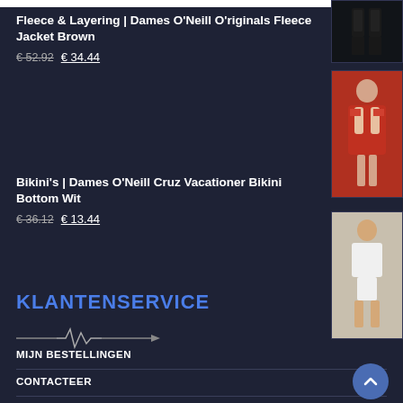[Figure (photo): Product thumbnail: dark clothing silhouette]
Fleece & Layering | Dames O'Neill O'riginals Fleece Jacket Brown
€ 52.92 € 34.44
[Figure (photo): Product thumbnail: woman in red/orange fleece jacket]
Bikini's | Dames O'Neill Cruz Vacationer Bikini Bottom Wit
€ 36.12 € 13.44
[Figure (photo): Product thumbnail: woman in white bikini]
KLANTENSERVICE
[Figure (illustration): Heartbeat / pulse line decorative icon]
MIJN BESTELLINGEN
CONTACTEER